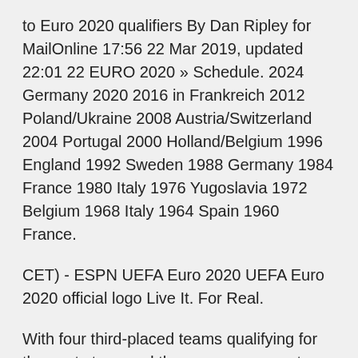to Euro 2020 qualifiers By Dan Ripley for MailOnline 17:56 22 Mar 2019, updated 22:01 22 EURO 2020 » Schedule. 2024 Germany 2020 2016 in Frankreich 2012 Poland/Ukraine 2008 Austria/Switzerland 2004 Portugal 2000 Holland/Belgium 1996 England 1992 Sweden 1988 Germany 1984 France 1980 Italy 1976 Yugoslavia 1972 Belgium 1968 Italy 1964 Spain 1960 France.
CET) - ESPN UEFA Euro 2020 UEFA Euro 2020 official logo Live It. For Real.
With four third-placed teams qualifying for the next stage and three group games to play, it seems a slight exaggeration to label Scotland's Euro 2020 opener against the Czechs as a vital match for both. Jun 14, 2021 · Scotland, under the leadership of Steve Clarke will play their major tournament since the 1998 World